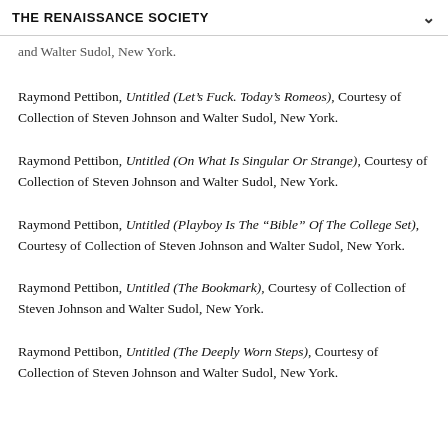THE RENAISSANCE SOCIETY
and Walter Sudol, New York.
Raymond Pettibon, Untitled (Let’s Fuck. Today’s Romeos), Courtesy of Collection of Steven Johnson and Walter Sudol, New York.
Raymond Pettibon, Untitled (On What Is Singular Or Strange), Courtesy of Collection of Steven Johnson and Walter Sudol, New York.
Raymond Pettibon, Untitled (Playboy Is The “Bible” Of The College Set), Courtesy of Collection of Steven Johnson and Walter Sudol, New York.
Raymond Pettibon, Untitled (The Bookmark), Courtesy of Collection of Steven Johnson and Walter Sudol, New York.
Raymond Pettibon, Untitled (The Deeply Worn Steps), Courtesy of Collection of Steven Johnson and Walter Sudol, New York.